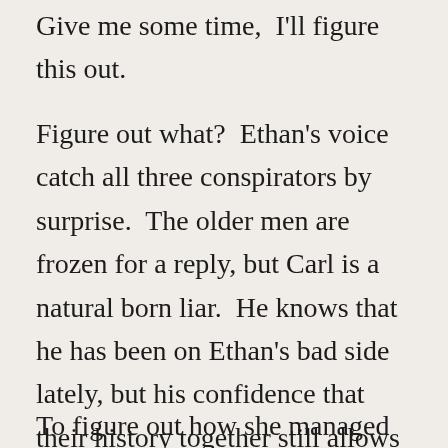Give me some time,  I'll figure this out.
Figure out what?  Ethan's voice catch all three conspirators by surprise.  The older men are frozen for a reply, but Carl is a natural born liar.  He knows that he has been on Ethan's bad side lately, but his confidence that their history together still allows some credit to his word.
To figure out how she managed to hide